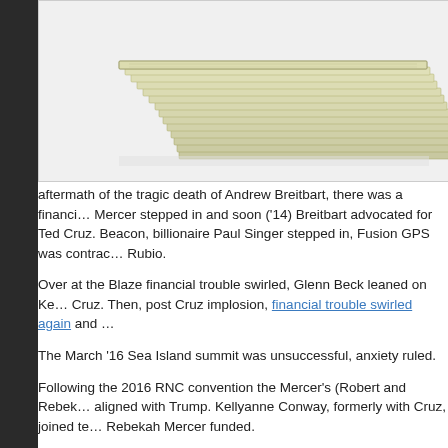[Figure (photo): Stack of US dollar bills/cash on a white background, cropped showing the right portion of the stack with layered bills fanned out.]
aftermath of the tragic death of Andrew Breitbart, there was a financial crisis. Mercer stepped in and soon ('14) Breitbart advocated for Ted Cruz. At the Beacon, billionaire Paul Singer stepped in, Fusion GPS was contracted by Rubio.
Over at the Blaze financial trouble swirled, Glenn Beck leaned on Ke… Cruz. Then, post Cruz implosion, financial trouble swirled again and …
The March '16 Sea Island summit was unsuccessful, anxiety ruled.
Following the 2016 RNC convention the Mercer's (Robert and Rebek… aligned with Trump. Kellyanne Conway, formerly with Cruz, joined tea… Rebekah Mercer funded.